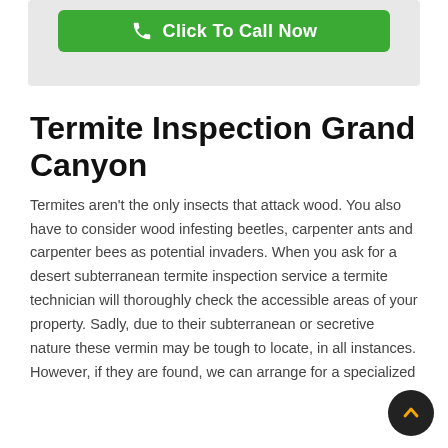[Figure (other): Green 'Click To Call Now' button with phone icon on a light gray background box]
Termite Inspection Grand Canyon
Termites aren't the only insects that attack wood. You also have to consider wood infesting beetles, carpenter ants and carpenter bees as potential invaders. When you ask for a desert subterranean termite inspection service a termite technician will thoroughly check the accessible areas of your property. Sadly, due to their subterranean or secretive nature these vermin may be tough to locate, in all instances. However, if they are found, we can arrange for a specialized